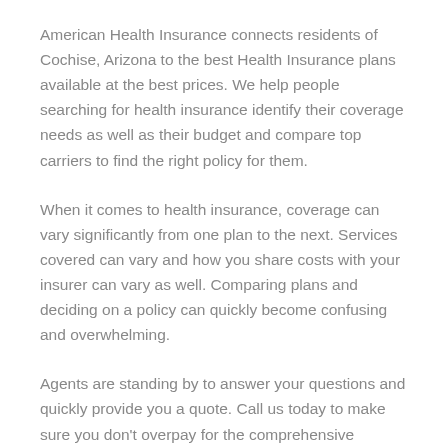American Health Insurance connects residents of Cochise, Arizona to the best Health Insurance plans available at the best prices. We help people searching for health insurance identify their coverage needs as well as their budget and compare top carriers to find the right policy for them.
When it comes to health insurance, coverage can vary significantly from one plan to the next. Services covered can vary and how you share costs with your insurer can vary as well. Comparing plans and deciding on a policy can quickly become confusing and overwhelming.
Agents are standing by to answer your questions and quickly provide you a quote. Call us today to make sure you don't overpay for the comprehensive coverage you need.